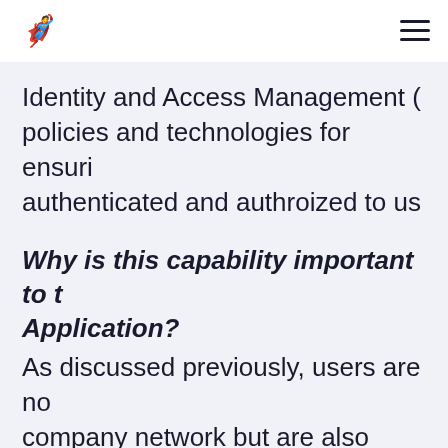A [logo] | ≡ [menu]
Identity and Access Management (IAM) policies and technologies for ensuring authenticated and authroized to us
Why is this capability important to the Application?
As discussed previously, users are not only on company network but are also using to access resources on the company n